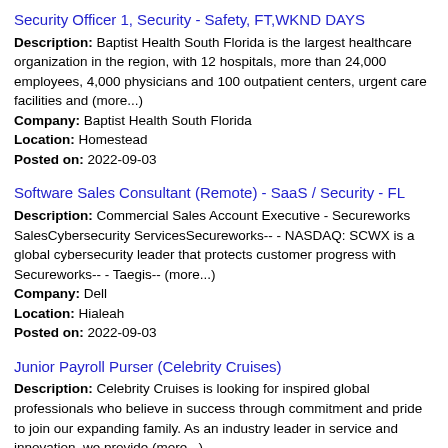Security Officer 1, Security - Safety, FT,WKND DAYS
Description: Baptist Health South Florida is the largest healthcare organization in the region, with 12 hospitals, more than 24,000 employees, 4,000 physicians and 100 outpatient centers, urgent care facilities and (more...) Company: Baptist Health South Florida Location: Homestead Posted on: 2022-09-03
Software Sales Consultant (Remote) - SaaS / Security - FL
Description: Commercial Sales Account Executive - Secureworks SalesCybersecurity ServicesSecureworks-- - NASDAQ: SCWX is a global cybersecurity leader that protects customer progress with Secureworks-- - Taegis-- (more...) Company: Dell Location: Hialeah Posted on: 2022-09-03
Junior Payroll Purser (Celebrity Cruises)
Description: Celebrity Cruises is looking for inspired global professionals who believe in success through commitment and pride to join our expanding family. As an industry leader in service and innovation, we provide (more...) Company: Location: Miami Posted on: 2022-09-01